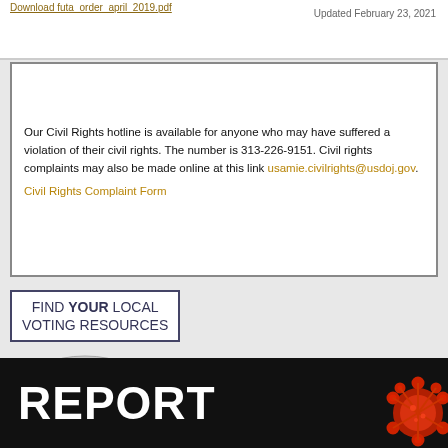Download futa_order_april_2019.pdf
Updated February 23, 2021
Our Civil Rights hotline is available for anyone who may have suffered a violation of their civil rights. The number is 313-226-9151. Civil rights complaints may also be made online at this link usamie.civilrights@usdoj.gov. Civil Rights Complaint Form
[Figure (infographic): Banner with text FIND YOUR LOCAL VOTING RESOURCES with a map of the United States below it]
[Figure (photo): Dark banner with large white text REPORT and a coronavirus/COVID-19 virus illustration on the right]